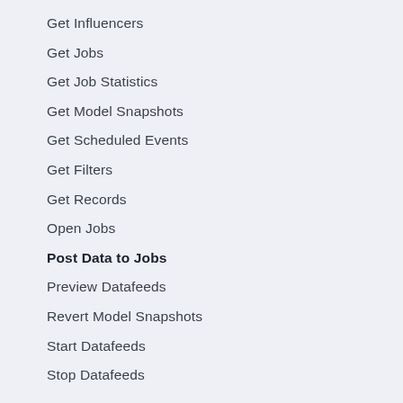Get Influencers
Get Jobs
Get Job Statistics
Get Model Snapshots
Get Scheduled Events
Get Filters
Get Records
Open Jobs
Post Data to Jobs
Preview Datafeeds
Revert Model Snapshots
Start Datafeeds
Stop Datafeeds